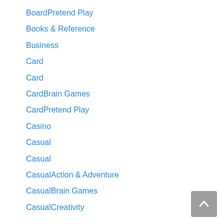BoardPretend Play
Books & Reference
Business
Card
Card
CardBrain Games
CardPretend Play
Casino
Casual
Casual
CasualAction & Adventure
CasualBrain Games
CasualCreativity